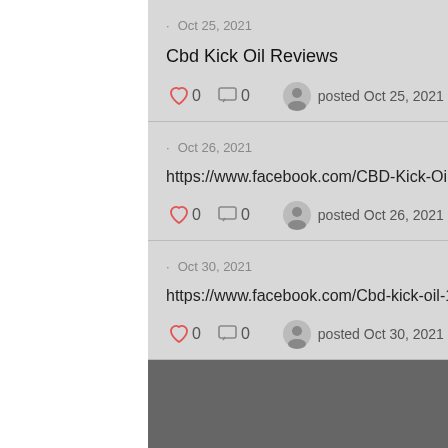· Oct 25, 2021
Cbd Kick Oil Reviews
0  0   posted Oct 25, 2021 ›
· Oct 26, 2021
https://www.facebook.com/CBD-Kick-Oil-USA-Reviews-104018392082932
0  0   posted Oct 26, 2021 ›
· Oct 30, 2021
https://www.facebook.com/Cbd-kick-oil-102005048954203
0  0   posted Oct 30, 2021 ›
[Figure (logo): Google logo partially visible at bottom]